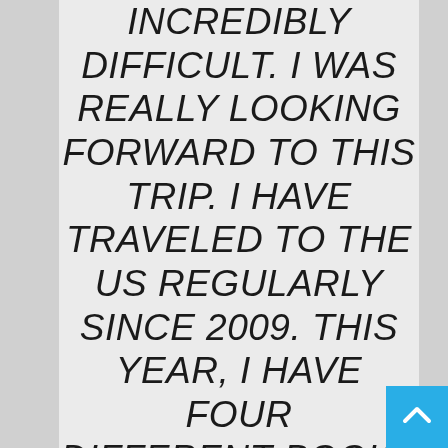INCREDIBLY DIFFICULT. I WAS REALLY LOOKING FORWARD TO THIS TRIP. I HAVE TRAVELED TO THE US REGULARLY SINCE 2009. THIS YEAR, I HAVE FOUR DIFFERENT BOOKS WITH THREE DIFFERENT PUBLISHERS, AND A TV SERIES TO PROMOTE. BEYOND THIS, I HAVE FANS